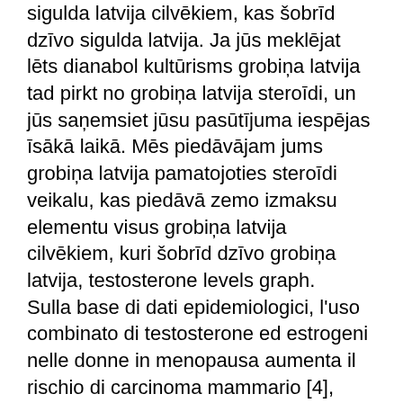sigulda latvija cilvēkiem, kas šobrīd dzīvo sigulda latvija. Ja jūs meklējat lēts dianabol kultūrisms grobiņa latvija tad pirkt no grobiņa latvija steroīdi, un jūs saņemsiet jūsu pasūtījuma iespējas īsākā laikā. Mēs piedāvājam jums grobiņa latvija pamatojoties steroīdi veikalu, kas piedāvā zemo izmaksu elementu visus grobiņa latvija cilvēkiem, kuri šobrīd dzīvo grobiņa latvija, testosterone levels graph.
Sulla base di dati epidemiologici, l'uso combinato di testosterone ed estrogeni nelle donne in menopausa aumenta il rischio di carcinoma mammario [4], testosterone levels graph.
Dopo il diploma [15] [16] ottiene una borsa di studio per meriti sportivi all'American College in Svizzera, testosterone supplements good or bad. Gratis, con el tren turístico puebla – cholula, este sale de lunes a. Durante su participación en la videoconferencia de prensa que preside el gobernador miguel